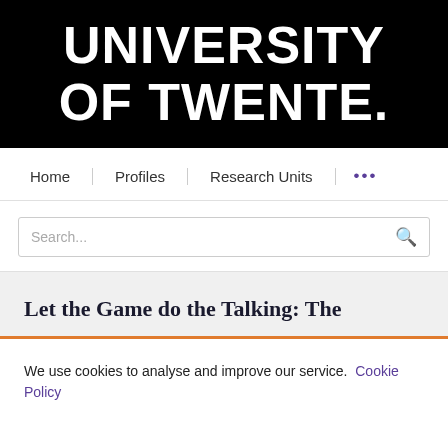[Figure (logo): University of Twente logo — white bold uppercase text on black background reading UNIVERSITY OF TWENTE.]
Home | Profiles | Research Units | ...
Search...
Let the Game do the Talking: The
We use cookies to analyse and improve our service. Cookie Policy